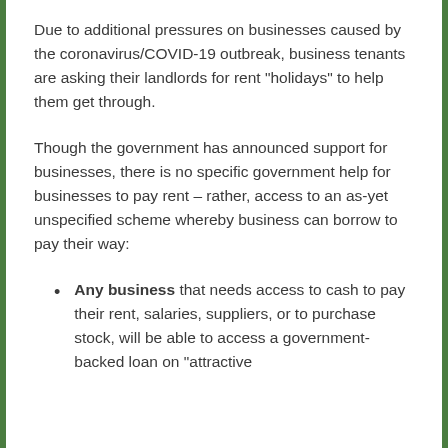Due to additional pressures on businesses caused by the coronavirus/COVID-19 outbreak, business tenants are asking their landlords for rent "holidays" to help them get through.
Though the government has announced support for businesses, there is no specific government help for businesses to pay rent – rather, access to an as-yet unspecified scheme whereby business can borrow to pay their way:
Any business that needs access to cash to pay their rent, salaries, suppliers, or to purchase stock, will be able to access a government-backed loan on "attractive